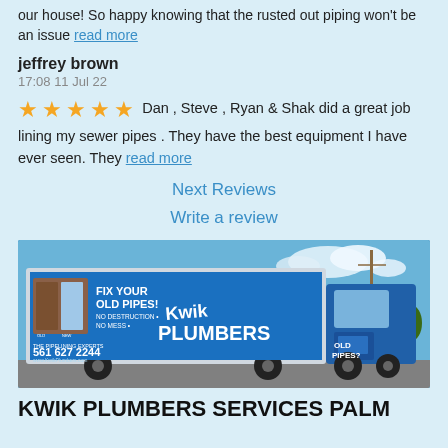our house! So happy knowing that the rusted out piping won't be an issue read more
jeffrey brown
17:08 11 Jul 22
Dan , Steve , Ryan & Shak did a great job lining my sewer pipes . They have the best equipment I have ever seen. They read more
Next Reviews
Write a review
[Figure (photo): Kwik Plumbers service truck with advertisement wrap showing 'Fix Your Old Pipes! No Destruction, No Mess', phone number 561 627 2244, and website www.KwikPlumbers.com]
KWIK PLUMBERS SERVICES PALM